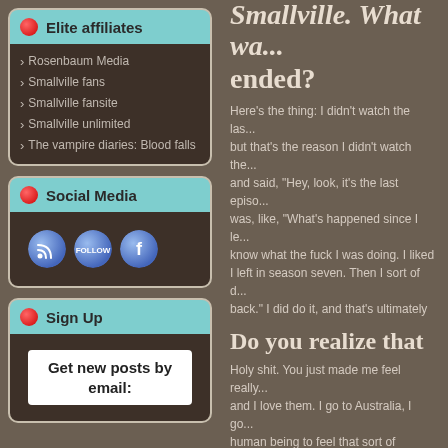Elite affiliates
Rosenbaum Media
Smallville fans
Smallville fansite
Smallville unlimited
The vampire diaries: Blood falls
Social Media
[Figure (other): Three social media icon buttons: RSS feed, Follow (Twitter), Facebook]
Sign Up
Get new posts by email:
Smallville. What wa... ended?
Here's the thing: I didn't watch the las... but that's the reason I didn't watch the... and said, "Hey, look, it's the last episo... was, like, "What's happened since I le... know what the fuck I was doing. I liked I left in season seven. Then I sort of d... back." I did do it, and that's ultimately
Do you realize that
Holy shit. You just made me feel really... and I love them. I go to Australia, I go... human being to feel that sort of accom... enough. It really would be enough to g... town and where I wasn't supposed to ... years. I would've mowed my lawn with
Source: empireonline.com – From Sm...
Posted in Michael Rosenbaum O... michael rosenbaum online, smallville ...
Leave a Reply